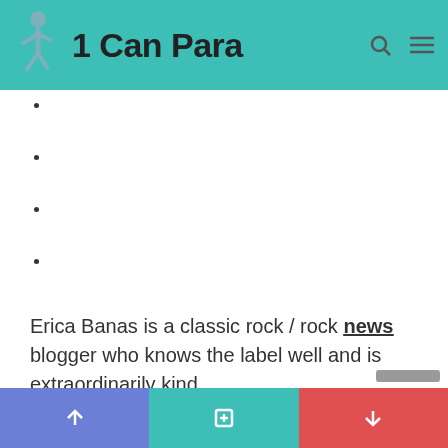1 Can Para
Erica Banas is a classic rock / rock news blogger who knows the label well and is extraordinarily kind.
Related Posts:
Coronavirus: What's Happening in Canada and Around the World on Wednesday
AFP urges CHP to deepen Absalon murder –